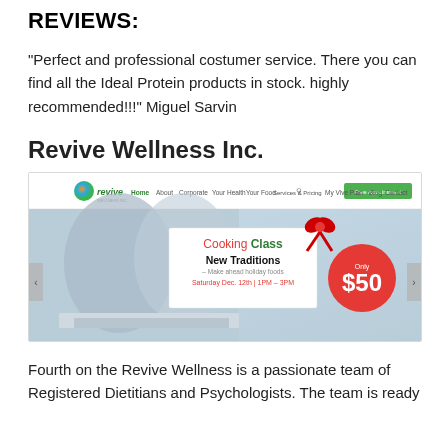REVIEWS:
“Perfect and professional costumer service. There you can find all the Ideal Protein products in stock. highly recommended!!!” Miguel Sarvin
Revive Wellness Inc.
[Figure (screenshot): Screenshot of the Revive Wellness Inc. website homepage showing navigation menu with Home, About, Corporate, Your Health, Your Food, Services & Pricing, My Vive Plan, Blog, Contact links, and a banner promoting a Cooking Class New Traditions event on Saturday Dec. 12th 1PM-3PM for Only $50.]
Fourth on the Revive Wellness is a passionate team of Registered Dietitians and Psychologists. The team is ready